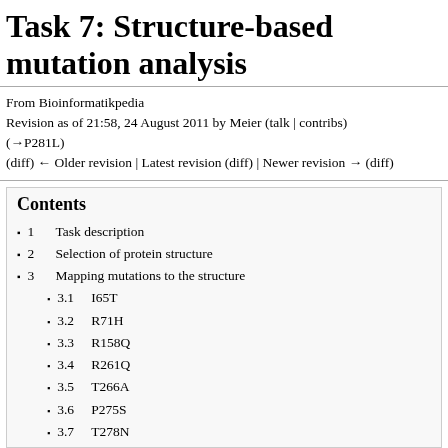Task 7: Structure-based mutation analysis
From Bioinformatikpedia
Revision as of 21:58, 24 August 2011 by Meier (talk | contribs)
(→P281L)
(diff) ← Older revision | Latest revision (diff) | Newer revision → (diff)
Contents
1  Task description
2  Selection of protein structure
3  Mapping mutations to the structure
3.1  I65T
3.2  R71H
3.3  R158Q
3.4  R261Q
3.5  T266A
3.6  P275S
3.7  T278N